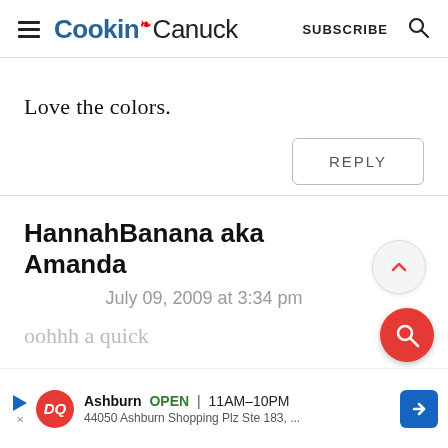Cookin' Canuck | SUBSCRIBE
Love the colors.
REPLY
HannahBanana aka Amanda
July 09, 2009 at 3:34 pm
oohhh a quick
Ashburn  OPEN  11AM–10PM  44050 Ashburn Shopping Plz Ste 183, ...